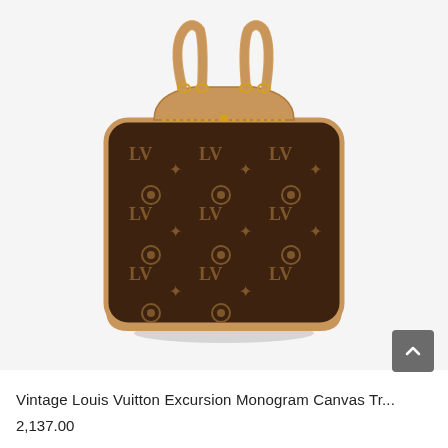[Figure (photo): A vintage Louis Vuitton Excursion bag in monogram canvas with tan vachetta leather trim and handles, photographed against a white background.]
Vintage Louis Vuitton Excursion Monogram Canvas Tr...
2,137.00